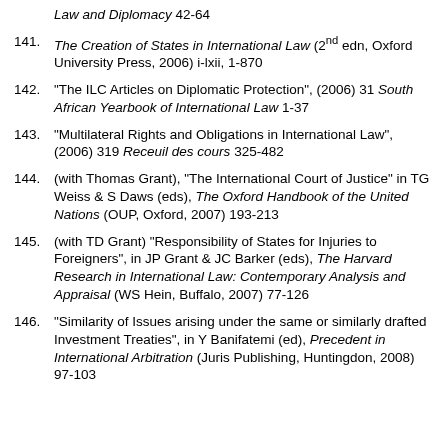Law and Diplomacy 42-64
141. The Creation of States in International Law (2nd edn, Oxford University Press, 2006) i-lxii, 1-870
142. "The ILC Articles on Diplomatic Protection", (2006) 31 South African Yearbook of International Law 1-37
143. "Multilateral Rights and Obligations in International Law", (2006) 319 Receuil des cours 325-482
144. (with Thomas Grant), "The International Court of Justice" in TG Weiss & S Daws (eds), The Oxford Handbook of the United Nations (OUP, Oxford, 2007) 193-213
145. (with TD Grant) "Responsibility of States for Injuries to Foreigners", in JP Grant & JC Barker (eds), The Harvard Research in International Law: Contemporary Analysis and Appraisal (WS Hein, Buffalo, 2007) 77-126
146. "Similarity of Issues arising under the same or similarly drafted Investment Treaties", in Y Banifatemi (ed), Precedent in International Arbitration (Juris Publishing, Huntingdon, 2008) 97-103